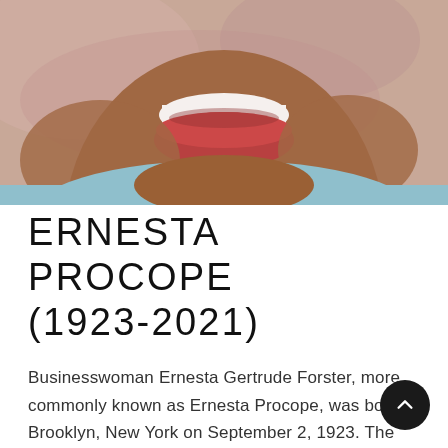[Figure (photo): Close-up photograph of a smiling woman, showing her lower face and upper torso. She is wearing a light blue garment. Background appears to be pinkish/marbled. Photo is cropped at the lower jaw and top of head is cut off.]
ERNESTA PROCOPE (1923-2021)
Businesswoman Ernesta Gertrude Forster, more commonly known as Ernesta Procope, was born in Brooklyn, New York on September 2, 1923. The year of her birth is contested, as public records have her date of birth as February 9, 1923. Similarly, her family